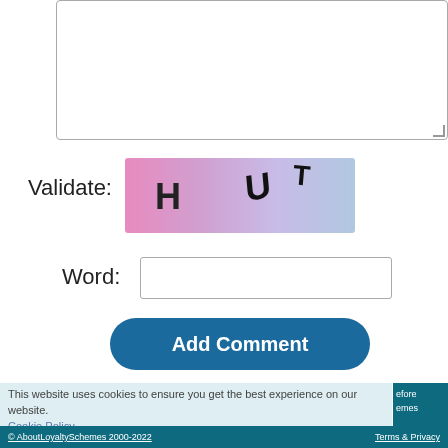[Figure (screenshot): Textarea input box with resize handle]
Validate:
[Figure (screenshot): CAPTCHA image with letters H, U, T on pink-to-blue gradient background]
Word:
[Figure (screenshot): Empty text input field for word]
Add Comment
This website uses cookies to ensure you get the best experience on our website. Cookie Policy
Got it!
efore
emes
© AboutLoyaltySchemes 2000-2022    Terms & Privacy